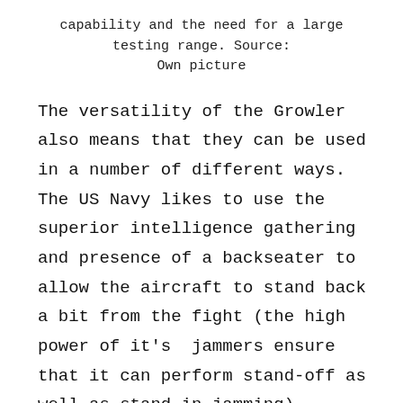capability and the need for a large testing range. Source: Own picture
The versatility of the Growler also means that they can be used in a number of different ways. The US Navy likes to use the superior intelligence gathering and presence of a backseater to allow the aircraft to stand back a bit from the fight (the high power of it's jammers ensure that it can perform stand-off as well as stand-in jamming), sharing it's tactical picture with the rest of the flight and having the Growler's WSO (backseater) play the role of a mission commander, directing the fight.